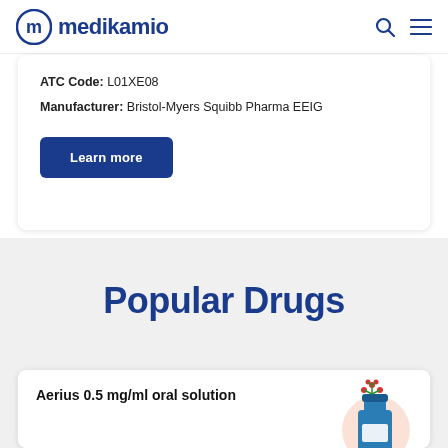medikamio
ATC Code: L01XE08
Manufacturer: Bristol-Myers Squibb Pharma EEIG
Learn more
Popular Drugs
Aerius 0.5 mg/ml oral solution